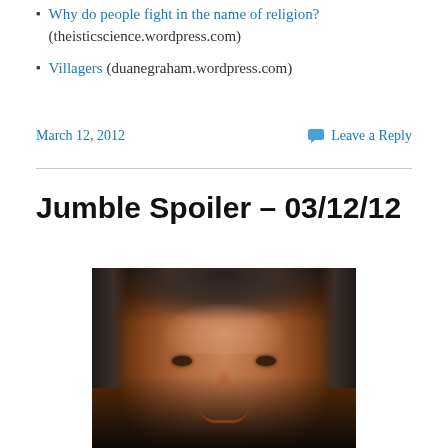Why do people fight in the name of religion? (theisticscience.wordpress.com)
Villagers (duanegraham.wordpress.com)
March 12, 2012
Leave a Reply
Jumble Spoiler – 03/12/12
[Figure (photo): Close-up portrait photo of a middle-aged man with dark grey hair, tanned skin, and a slight smile, against a dark background.]